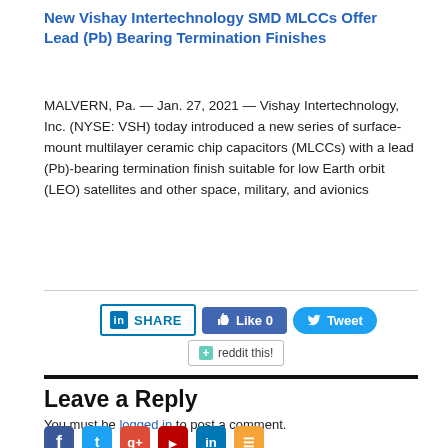New Vishay Intertechnology SMD MLCCs Offer Lead (Pb) Bearing Termination Finishes
MALVERN, Pa. — Jan. 27, 2021 — Vishay Intertechnology, Inc. (NYSE: VSH) today introduced a new series of surface-mount multilayer ceramic chip capacitors (MLCCs) with a lead (Pb)-bearing termination finish suitable for low Earth orbit (LEO) satellites and other space, military, and avionics
[Figure (other): Social sharing buttons: LinkedIn Share, Facebook Like 0, Twitter Tweet, and Reddit this!]
Leave a Reply
You must be logged in to post a comment.
[Figure (other): Row of social media icons: Facebook, Twitter, Google+, YouTube, LinkedIn, RSS]